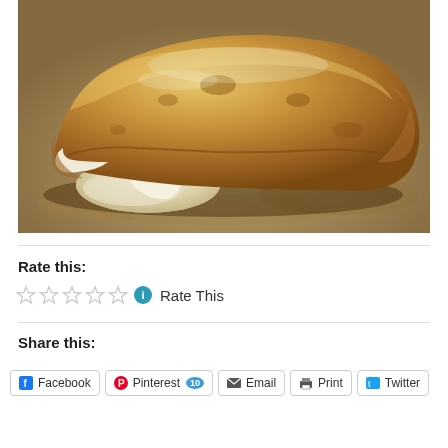[Figure (photo): A golden-brown baked calzone or stromboli on a baking stone, with melted white cheese oozing out from one end onto the surface below.]
Rate this:
☆☆☆☆☆ ℹ Rate This
Share this:
Facebook | Pinterest 10 | Email | Print | Twitter